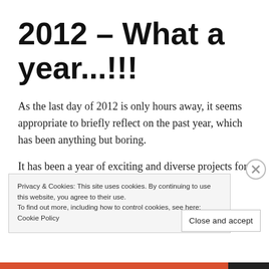2012 – What a year...!!!
As the last day of 2012 is only hours away, it seems appropriate to briefly reflect on the past year, which has been anything but boring.
It has been a year of exciting and diverse projects for me, ranging from Thames Water's online drought campaign to one of the most impactful
Privacy & Cookies: This site uses cookies. By continuing to use this website, you agree to their use.
To find out more, including how to control cookies, see here: Cookie Policy
Close and accept